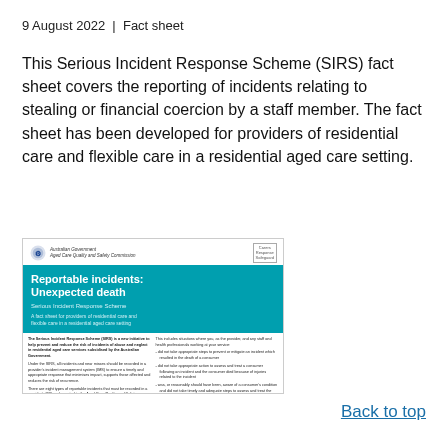9 August 2022  |  Fact sheet
This Serious Incident Response Scheme (SIRS) fact sheet covers the reporting of incidents relating to stealing or financial coercion by a staff member. The fact sheet has been developed for providers of residential care and flexible care in a residential aged care setting.
[Figure (illustration): Thumbnail preview of a SIRS fact sheet titled 'Reportable incidents: Unexpected death – Serious Incident Response Scheme', published by the Australian Government Aged Care Quality and Safety Commission, with a teal header block and body text in two columns.]
Back to top